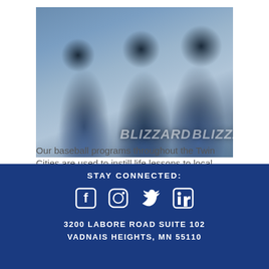[Figure (photo): Group of young baseball players in blue Blizzard uniforms smiling and celebrating together]
Our baseball programs throughout the Twin Cities are used to instill life lessons to local children while having fun through the game of baseball. We encourage youth throughout the Twin Cities to develop their physical, intellectual and emotional health. The JP4 Foundation's summer youth baseball programs help develop a variety of skills. Price IV scholarship is awarded to athletes who show the same leadership qualities and attitude that Johnny Price IV did.
STAY CONNECTED:
[Figure (other): Social media icons: Facebook, Instagram, Twitter, LinkedIn]
3200 LABORE ROAD SUITE 102
VADNAIS HEIGHTS, MN 55110